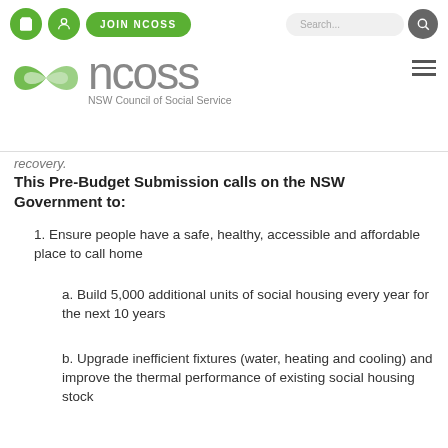[Figure (logo): NCOSS NSW Council of Social Service logo with green infinity-style symbol and navigation bar including cart icon, user icon, JOIN NCOSS button, search bar]
recovery.
This Pre-Budget Submission calls on the NSW Government to:
1. Ensure people have a safe, healthy, accessible and affordable place to call home
a. Build 5,000 additional units of social housing every year for the next 10 years
b. Upgrade inefficient fixtures (water, heating and cooling) and improve the thermal performance of existing social housing stock